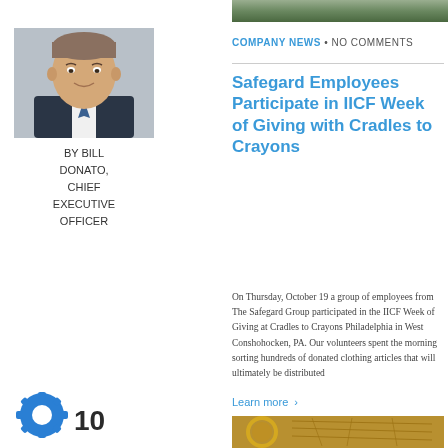[Figure (photo): Partial photo of outdoor scene at the top]
[Figure (photo): Headshot of Bill Donato, a man in a dark suit, smiling]
BY BILL DONATO, CHIEF EXECUTIVE OFFICER
COMPANY NEWS • NO COMMENTS
Safegard Employees Participate in IICF Week of Giving with Cradles to Crayons
On Thursday, October 19 a group of employees from The Safegard Group participated in the IICF Week of Giving at Cradles to Crayons Philadelphia in West Conshohocken, PA. Our volunteers spent the morning sorting hundreds of donated clothing articles that will ultimately be distributed
Learn more >
[Figure (logo): Gear/settings icon with number 10]
[Figure (photo): Partial photo showing a compass on a map at the bottom]